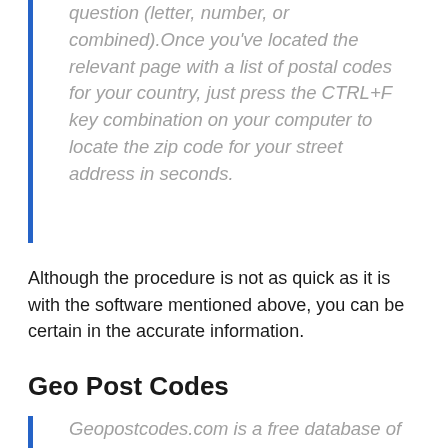question (letter, number, or combined).Once you've located the relevant page with a list of postal codes for your country, just press the CTRL+F key combination on your computer to locate the zip code for your street address in seconds.
Although the procedure is not as quick as it is with the software mentioned above, you can be certain in the accurate information.
Geo Post Codes
Geopostcodes.com is a free database of 5.8 million zip codes for 127 countries that may be accessed from any